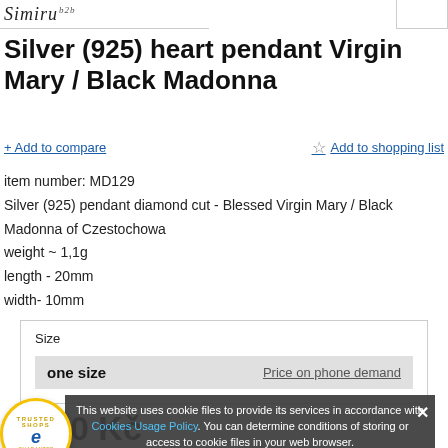Simirw b2b
Silver (925) heart pendant Virgin Mary / Black Madonna
+ Add to compare   ☆ Add to shopping list
item number: MD129
Silver (925) pendant diamond cut - Blessed Virgin Mary / Black Madonna of Czestochowa
weight ~ 1,1g
length - 20mm
width- 10mm
| Size |  |
| --- | --- |
| one size | Price on phone demand |
This website uses cookie files to provide its services in accordance with Cookies Usage Policy. You can determine conditions of storing or access to cookie files in your web browser.
Close
4.89
0 Kč